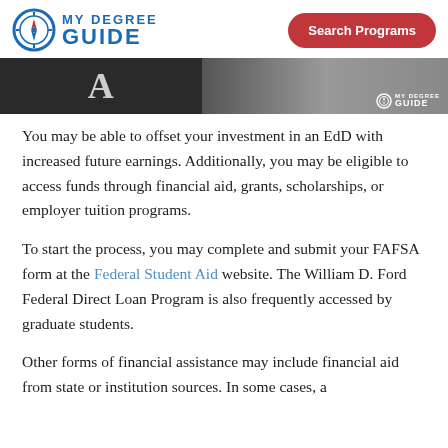MY DEGREE GUIDE | Search Programs
[Figure (photo): Hero image showing a dark photo with a large letter 'A' visible and a MyDegreeGuide watermark in the bottom right corner.]
You may be able to offset your investment in an EdD with increased future earnings. Additionally, you may be eligible to access funds through financial aid, grants, scholarships, or employer tuition programs.
To start the process, you may complete and submit your FAFSA form at the Federal Student Aid website. The William D. Ford Federal Direct Loan Program is also frequently accessed by graduate students.
Other forms of financial assistance may include financial aid from state or institution sources. In some cases, a